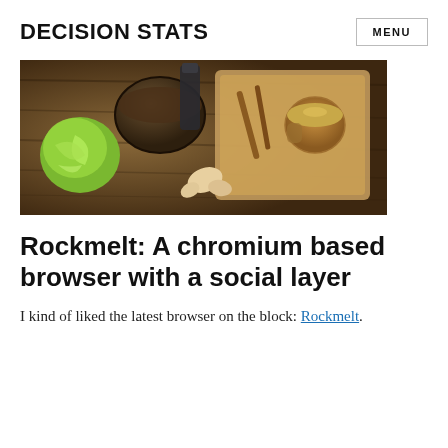DECISION STATS
[Figure (photo): Overhead view of food ingredients on a wooden surface including peeled green citrus, ginger, a mortar, cup of tea, and cutting board]
Rockmelt: A chromium based browser with a social layer
I kind of liked the latest browser on the block: Rockmelt.